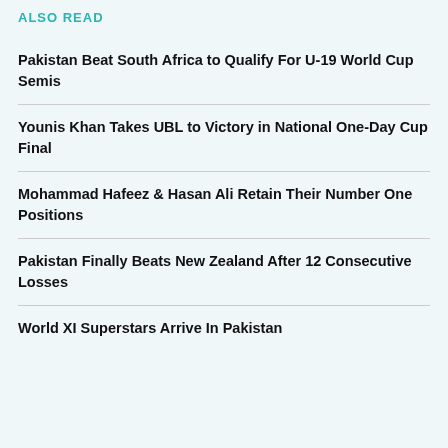ALSO READ
Pakistan Beat South Africa to Qualify For U-19 World Cup Semis
Younis Khan Takes UBL to Victory in National One-Day Cup Final
Mohammad Hafeez & Hasan Ali Retain Their Number One Positions
Pakistan Finally Beats New Zealand After 12 Consecutive Losses
World XI Superstars Arrive In Pakistan